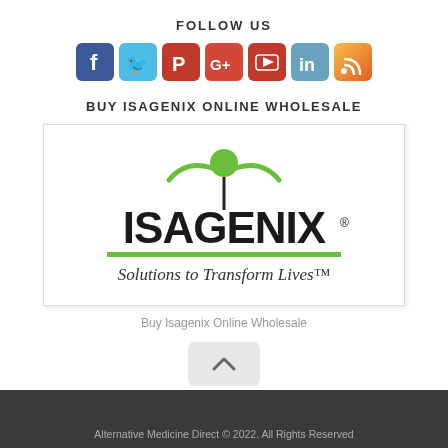FOLLOW US
[Figure (illustration): Row of social media icons: Facebook (blue), Twitter (light blue), Pinterest (red), Google+ (red), YouTube (red), LinkedIn (blue-gray), RSS (orange)]
BUY ISAGENIX ONLINE WHOLESALE
[Figure (logo): Isagenix logo with green figure holding wings, bold black ISAGENIX text, green underline, and tagline 'Solutions to Transform Lives™']
Buy Isagenix Online Wholesale
Alternative Medicine Direct © 2022. All Rights Reserved